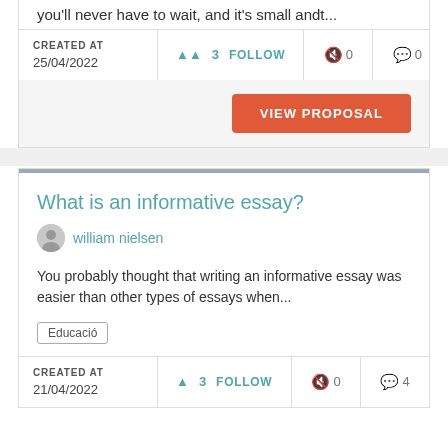you'll never have to wait, and it's small andt...
| CREATED AT |  |  |  |
| --- | --- | --- | --- |
| 25/04/2022 | ▲ 3  FOLLOW | 🔇 0 | 💬 0 |
VIEW PROPOSAL
What is an informative essay?
william nielsen
You probably thought that writing an informative essay was easier than other types of essays when...
Educació
| CREATED AT |  |  |  |
| --- | --- | --- | --- |
| 21/04/2022 | ▲ 3  FOLLOW | 🔇 0 | 💬 4 |